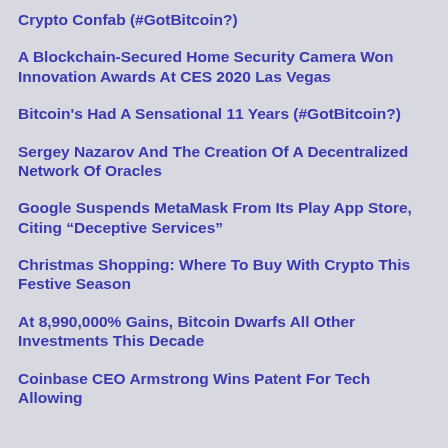Crypto Confab (#GotBitcoin?)
A Blockchain-Secured Home Security Camera Won Innovation Awards At CES 2020 Las Vegas
Bitcoin's Had A Sensational 11 Years (#GotBitcoin?)
Sergey Nazarov And The Creation Of A Decentralized Network Of Oracles
Google Suspends MetaMask From Its Play App Store, Citing “Deceptive Services”
Christmas Shopping: Where To Buy With Crypto This Festive Season
At 8,990,000% Gains, Bitcoin Dwarfs All Other Investments This Decade
Coinbase CEO Armstrong Wins Patent For Tech Allowing